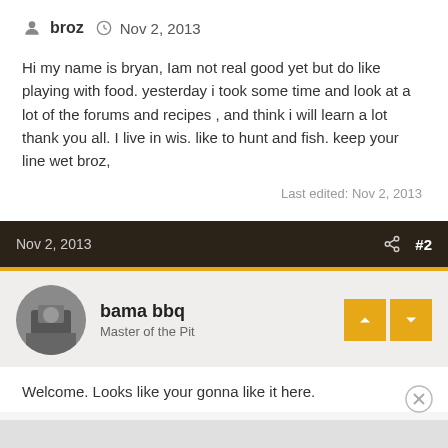broz  Nov 2, 2013
Hi my name is bryan, Iam not real good yet but do like playing with food. yesterday i took some time and look at a lot of the forums and recipes , and think i will learn a lot thank you all. I live in wis. like to hunt and fish. keep your line wet broz,
Last edited: Nov 2, 2013
Nov 2, 2013  #2
bama bbq
Master of the Pit
Welcome. Looks like your gonna like it here.